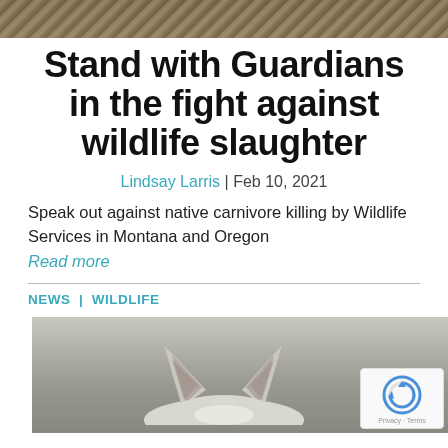[Figure (photo): Top partial photo showing trees/nature background, cropped at top of page]
Stand with Guardians in the fight against wildlife slaughter
Lindsay Larris | Feb 10, 2021
Speak out against native carnivore killing by Wildlife Services in Montana and Oregon
Read more
NEWS | WILDLIFE
[Figure (photo): Bottom photo showing close-up of fox ears/top of fox head against blurred background, with reCAPTCHA badge overlay in bottom right]